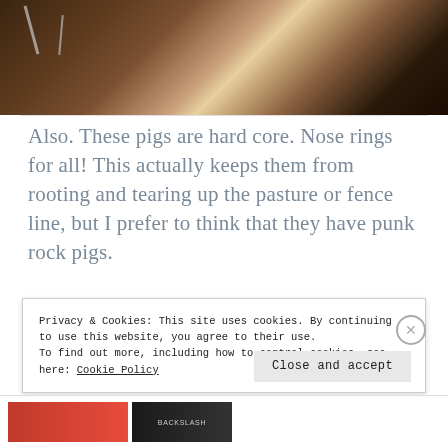[Figure (photo): Close-up photograph of a pig's snout with a nose ring, dark background with tan and light colored fur/skin visible]
Also. These pigs are hard core. Nose rings for all! This actually keeps them from rooting and tearing up the pasture or fence line, but I prefer to think that they have punk rock pigs.
Privacy & Cookies: This site uses cookies. By continuing to use this website, you agree to their use.
To find out more, including how to control cookies, see here: Cookie Policy
Close and accept